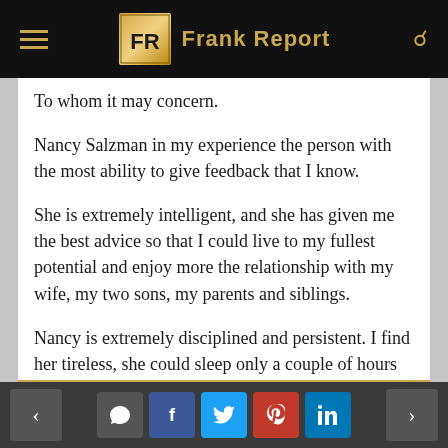Frank Report
To whom it may concern.
Nancy Salzman in my experience the person with the most ability to give feedback that I know.
She is extremely intelligent, and she has given me the best advice so that I could live to my fullest potential and enjoy more the relationship with my wife, my two sons, my parents and siblings.
Nancy is extremely disciplined and persistent. I find her tireless, she could sleep only a couple of hours and is always extremely energetic. She always was willing to help me and others, she really cared about everyone having a more…